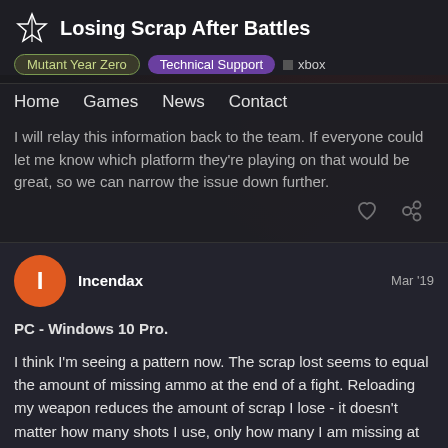Losing Scrap After Battles | Mutant Year Zero | Technical Support | xbox
Home  Games  News  Contact
I will relay this information back to the team. If everyone could let me know which platform they're playing on that would be great, so we can narrow the issue down further.
Incendax  Mar '19
PC - Windows 10 Pro.
I think I'm seeing a pattern now. The scrap lost seems to equal the amount of missing ammo at the end of a fight. Reloading my weapon reduces the amount of scrap I lose - it doesn't matter how many shots I use, only how many I am missing at the end of a fight.
16 / 18